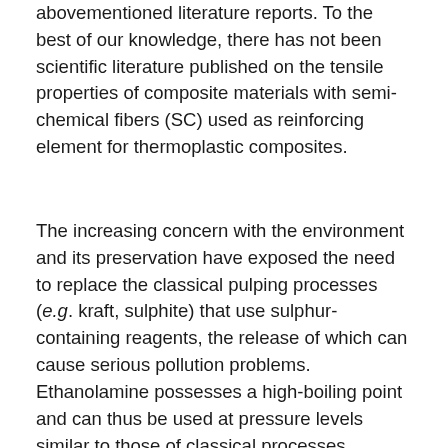abovementioned literature reports. To the best of our knowledge, there has not been scientific literature published on the tensile properties of composite materials with semi-chemical fibers (SC) used as reinforcing element for thermoplastic composites.
The increasing concern with the environment and its preservation have exposed the need to replace the classical pulping processes (e.g. kraft, sulphite) that use sulphur-containing reagents, the release of which can cause serious pollution problems. Ethanolamine possesses a high-boiling point and can thus be used at pressure levels similar to those of classical processes. Rodriguez et al. (2008) discussed the technical, economical, and environmental advantages of organosolv processes.